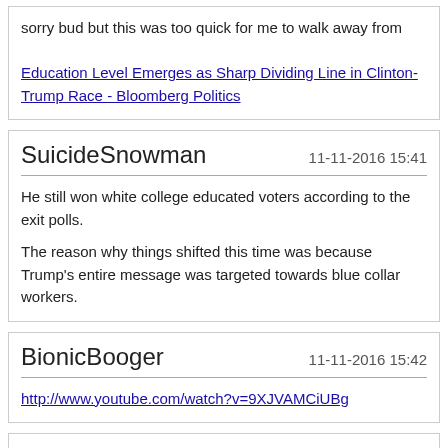sorry bud but this was too quick for me to walk away from
Education Level Emerges as Sharp Dividing Line in Clinton-Trump Race - Bloomberg Politics
SuicideSnowman   11-11-2016 15:41
He still won white college educated voters according to the exit polls.

The reason why things shifted this time was because Trump's entire message was targeted towards blue collar workers.
BionicBooger   11-11-2016 15:42
http://www.youtube.com/watch?v=9XJVAMCiUBg
clu   11-11-2016 15:43
Quote:
Originally Posted by SuicideSnowman (Post 18672419)
He still won white college educated voters according to the exit polls.